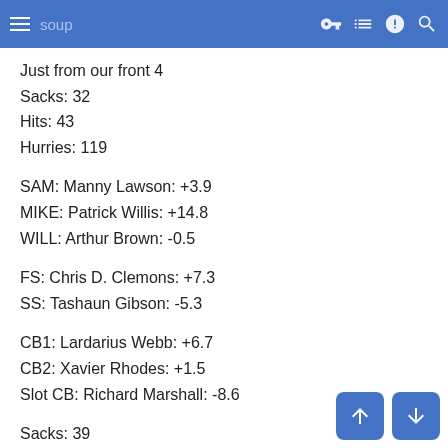soup
Just from our front 4
Sacks: 32
Hits: 43
Hurries: 119
SAM: Manny Lawson: +3.9
MIKE: Patrick Willis: +14.8
WILL: Arthur Brown: -0.5
FS: Chris D. Clemons: +7.3
SS: Tashaun Gibson: -5.3
CB1: Lardarius Webb: +6.7
CB2: Xavier Rhodes: +1.5
Slot CB: Richard Marshall: -8.6
Sacks: 39
Hits: 48
Hurries: 143
Defensive +/-: 75.9